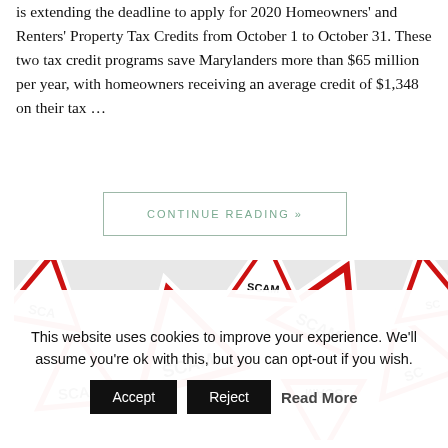is extending the deadline to apply for 2020 Homeowners' and Renters' Property Tax Credits from October 1 to October 31. These two tax credit programs save Marylanders more than $65 million per year, with homeowners receiving an average credit of $1,348 on their tax …
CONTINUE READING »
[Figure (photo): A pile of red and white triangular warning signs with the word SCAM printed on them]
This website uses cookies to improve your experience. We'll assume you're ok with this, but you can opt-out if you wish.
Accept  Reject  Read More